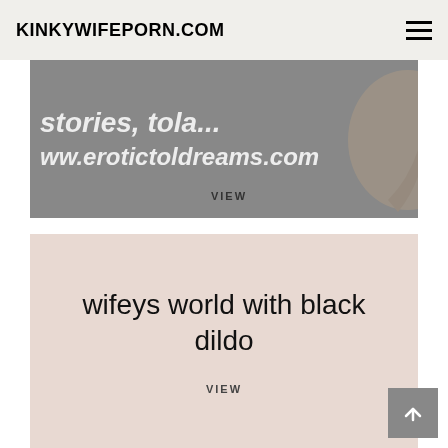KINKYWIFEPORN.COM
[Figure (photo): Dark gray background image with white italic text showing 'stories, tola...' and 'ww.erotictoldreams.com', partial view of a figure with high heel shoe visible, VIEW label at bottom center]
[Figure (photo): Light beige/pink blurred background image showing centered text 'wifeys world with black dildo' in large black font, VIEW label at bottom center]
VIEW
VIEW